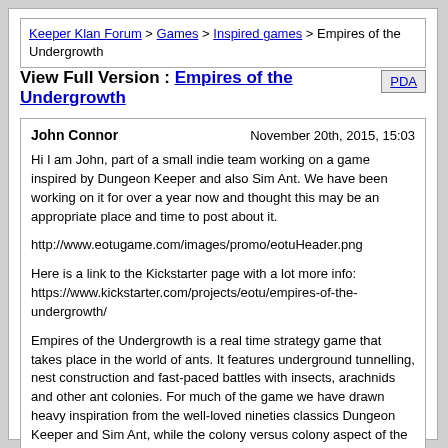Keeper Klan Forum > Games > Inspired games > Empires of the Undergrowth
View Full Version : Empires of the Undergrowth
PDA
John Connor | November 20th, 2015, 15:03
Hi I am John, part of a small indie team working on a game inspired by Dungeon Keeper and also Sim Ant. We have been working on it for over a year now and thought this may be an appropriate place and time to post about it.
http://www.eotugame.com/images/promo/eotuHeader.png
Here is a link to the Kickstarter page with a lot more info:
https://www.kickstarter.com/projects/eotu/empires-of-the-undergrowth/
Empires of the Undergrowth is a real time strategy game that takes place in the world of ants. It features underground tunnelling, nest construction and fast-paced battles with insects, arachnids and other ant colonies. For much of the game we have drawn heavy inspiration from the well-loved nineties classics Dungeon Keeper and Sim Ant, while the colony versus colony aspect of the game has been particularly inspired by Starcraft 2's popular 'Desert Strike' arcade game.
http://www.eotugame.com/images/promo/baseSmall.jpg
The game's theme is taken directly from nature and offers a fresh alternative to the usual sci-fi, fantasy and historical settings for this genre. In the single-player campaign, the player takes control of Formica ereptor: a unique colony of DNA-assimilating, nomadic ants embarking on a great journey. They must set up temporary nests, gather food and defeat neighbouring colonies. Their epic story is narrated from the perspective of a documentary filmmaker